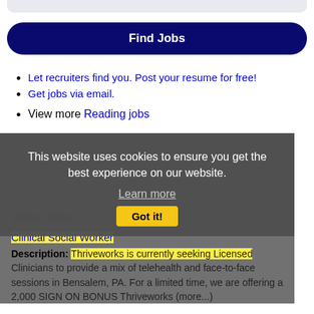[Figure (screenshot): Top rounded gray bar, partial UI element]
Find Jobs
Let recruiters find you. Post your resume for free!
Get jobs via email.
View more Reading jobs
Other Jobs
Clinical Social Worker
Description: Thriveworks is currently seeking Licensed Clinicians to provide a mix of telehealth and face-to-face sessions in Bensalem, PA. For a limited time, we are offering a 2,000 SIGN ON BONUS Thriveworks (more...)
This website uses cookies to ensure you get the best experience on our website. Learn more Got it!